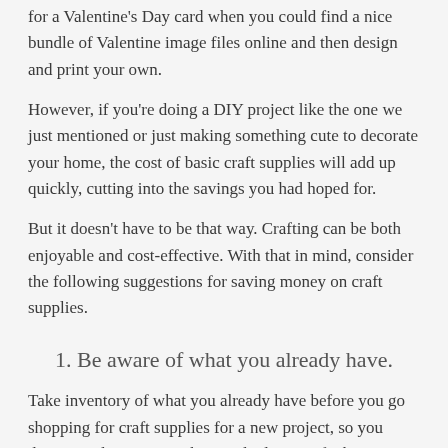for a Valentine's Day card when you could find a nice bundle of Valentine image files online and then design and print your own.
However, if you're doing a DIY project like the one we just mentioned or just making something cute to decorate your home, the cost of basic craft supplies will add up quickly, cutting into the savings you had hoped for.
But it doesn't have to be that way. Crafting can be both enjoyable and cost-effective. With that in mind, consider the following suggestions for saving money on craft supplies.
1. Be aware of what you already have.
Take inventory of what you already have before you go shopping for craft supplies for a new project, so you don't spend money purchasing duplicates of what you already have.
2. Make a list of projects that you want to